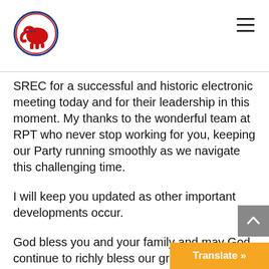[Republican Party of Texas logo and navigation]
SREC for a successful and historic electronic meeting today and for their leadership in this moment. My thanks to the wonderful team at RPT who never stop working for you, keeping our Party running smoothly as we navigate this challenging time.
I will keep you updated as other important developments occur.
God bless you and your family and may God continue to richly bless our great state of Texas.
Sincerely,